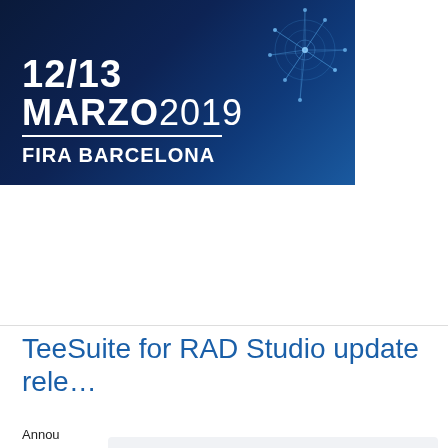[Figure (illustration): Event banner for 12/13 MARZO 2019 FIRA BARCELONA with dark blue background and neural network/brain graphic decoration]
TeeSuite for RAD Studio update rele…
Annou… versio… the cu…
For m…
Dece…
This website uses cookie to ensure that you get the best experience on our website.
Learn more
Got it!